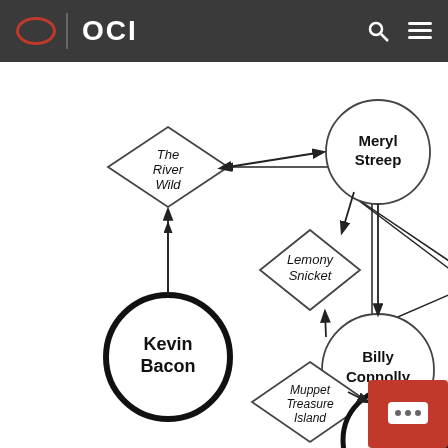OCI
[Figure (network-graph): Flowchart/network graph showing relationships between Kevin Bacon, The River Wild, Meryl Streep, Lemony Snicket, Billy Connolly, Muppet Treasure Island, and Miss Piggy. Circles represent actors, diamonds represent movies. Arrows connect actors to movies they appeared in.]